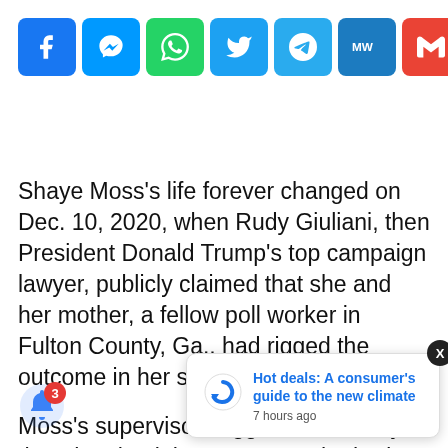[Figure (infographic): Social media share buttons row: Facebook, Messenger, WhatsApp, Twitter, Telegram, MeWe, Gmail, Flipboard, share link, and more (+) icons]
Shaye Moss's life forever changed on Dec. 10, 2020, when Rudy Giuliani, then President Donald Trump's top campaign lawyer, publicly claimed that she and her mother, a fellow poll worker in Fulton County, Ga., had rigged the outcome in her state.
Moss's supervisor suggested that day that she check her voicemail. She had received so many that her office had. She was stunned by what she saw when she called her Facebook...
[Figure (infographic): Notification popup card with Updatem logo, headline 'Hot deals: A consumer's guide to the new climate', timestamp '7 hours ago', close button X, and bell notification icon with red badge showing 3]